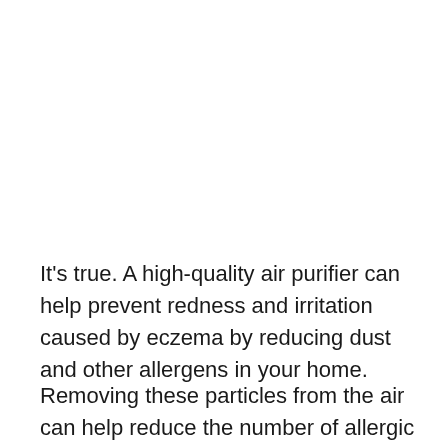It's true. A high-quality air purifier can help prevent redness and irritation caused by eczema by reducing dust and other allergens in your home.
Removing these particles from the air can help reduce the number of allergic reactions that trigger eczema.